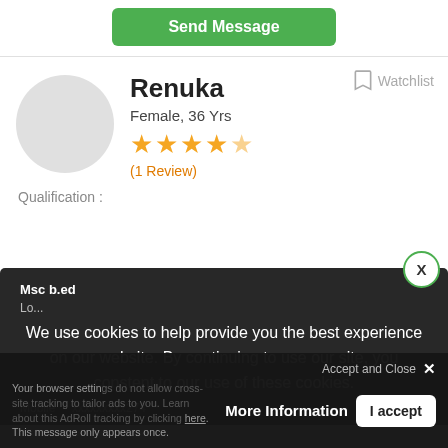[Figure (other): Green Send Message button at top of page]
Watchlist
Renuka
Female, 36 Yrs
[Figure (other): 4.5 gold star rating display]
(1 Review)
Qualification :
Msc b.ed
We use cookies to help provide you the best experience on our website. By continuing to use our site, you constent to our use of these cookies.
Mobile   xxxxxxxxx274
Accept and Close
More Information
I accept
Your browser settings do not allow cross-site tracking to tailor ads to you. Learn about this AdRoll tracking by clicking here. This message only appears once.